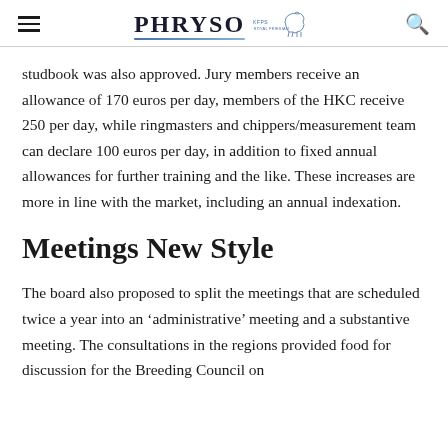PHRYSO | KFPS · ROYAL FRIESIAN
studbook was also approved. Jury members receive an allowance of 170 euros per day, members of the HKC receive 250 per day, while ringmasters and chippers/measurement team can declare 100 euros per day, in addition to fixed annual allowances for further training and the like. These increases are more in line with the market, including an annual indexation.
Meetings New Style
The board also proposed to split the meetings that are scheduled twice a year into an 'administrative' meeting and a substantive meeting. The consultations in the regions provided food for discussion for the Breeding Council on